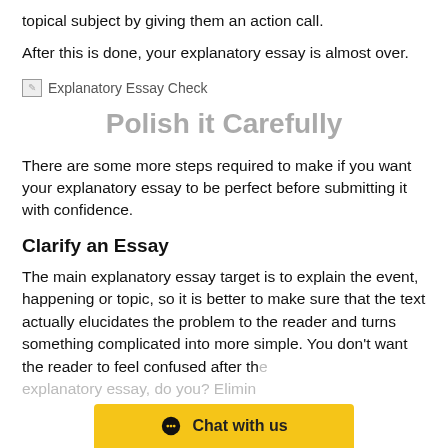topical subject by giving them an action call.
After this is done, your explanatory essay is almost over.
[Figure (other): Broken image placeholder labeled 'Explanatory Essay Check']
Polish it Carefully
There are some more steps required to make if you want your explanatory essay to be perfect before submitting it with confidence.
Clarify an Essay
The main explanatory essay target is to explain the event, happening or topic, so it is better to make sure that the text actually elucidates the problem to the reader and turns something complicated into more simple. You don't want the reader to feel confused after th… explanatory essay, do you? Elimin…